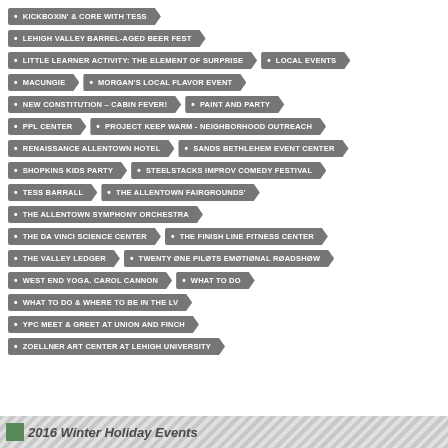KICKBOXIN' & CORE WITH TESS
LEHIGH VALLEY BARREL-AGED BEER FEST
LITTLE LEARNER ACTIVITY: THE ELEMENT OF SURPRISE
LOCAL EVENTS
MACUNGIE
MORGAN'S LOCAL FLAVOR EVENT
NEW CONSTITUTION – CABIN FEVER!
PAINT AND PARTY
PPL CENTER
PROJECT KEEP WARM - NEIGHBORHOOD OUTREACH
RENAISSANCE ALLENTOWN HOTEL
SANDS BETHLEHEM EVENT CENTER
SHOPKINS KIDS PARTY
STEELSTACKS IMPROV COMEDY FESTIVAL
TESS BARRALL
THE ALLENTOWN FAIRGROUNDS'
THE ALLENTOWN SYMPHONY ORCHESTRA
THE DA VINCI SCIENCE CENTER
THE FINISH LINE FITNESS CENTER
THE VALLEY LEDGER
TWENTY ØNE PILØTS EMØTIØNAL RØADSHØW
WEST END YOGA. CAROL CANNON
WHAT TO DO
WHAT TO DO & WHERE TO BE IN THE LV
YPC MEET & GREET AT UNION AND FINCH
ZOELLNER ART CENTER AT LEHIGH UNIVERSITY
2016 Winter Holiday Events